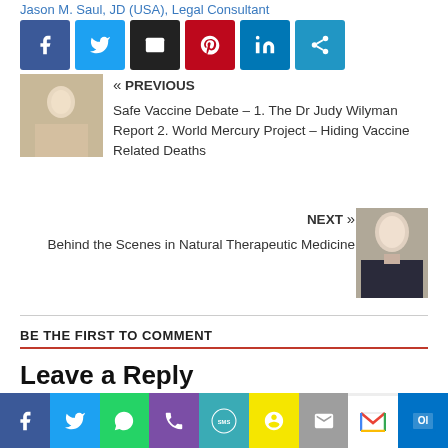Jason M. Saul, JD (USA), Legal Consultant
[Figure (other): Social media share icons: Facebook, Twitter, Email, Pinterest, LinkedIn, Share]
[Figure (photo): Photo of baby being held or vaccinated]
« PREVIOUS
Safe Vaccine Debate – 1. The Dr Judy Wilyman Report 2. World Mercury Project – Hiding Vaccine Related Deaths
NEXT »
Behind the Scenes in Natural Therapeutic Medicine
[Figure (photo): Head shot of older man in dark suit with tie]
BE THE FIRST TO COMMENT
Leave a Reply
Your email address will not be published.
[Figure (other): Bottom social sharing bar: Facebook, Twitter, WhatsApp, Phone, SMS, Snapchat, Email, Gmail, Outlook]